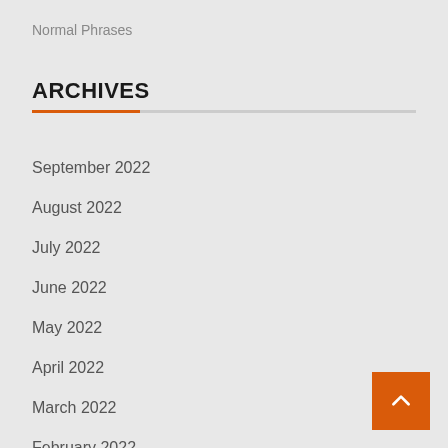Normal Phrases
ARCHIVES
September 2022
August 2022
July 2022
June 2022
May 2022
April 2022
March 2022
February 2022
January 2022